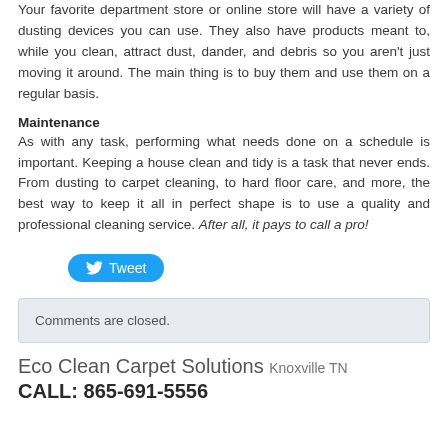Your favorite department store or online store will have a variety of dusting devices you can use. They also have products meant to, while you clean, attract dust, dander, and debris so you aren't just moving it around. The main thing is to buy them and use them on a regular basis.
Maintenance
As with any task, performing what needs done on a schedule is important. Keeping a house clean and tidy is a task that never ends. From dusting to carpet cleaning, to hard floor care, and more, the best way to keep it all in perfect shape is to use a quality and professional cleaning service. After all, it pays to call a pro!
[Figure (other): Twitter Tweet button in blue rounded rectangle with bird icon]
Comments are closed.
Eco Clean Carpet Solutions Knoxville TN
CALL: 865-691-5556